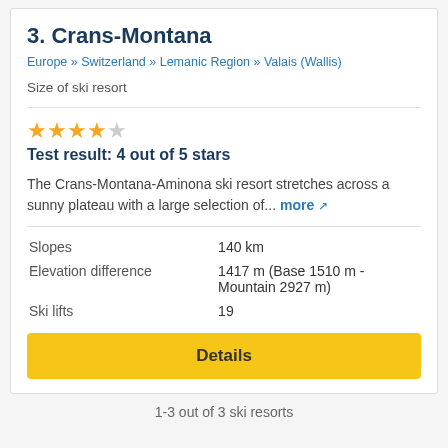3. Crans-Montana
Europe » Switzerland » Lemanic Region » Valais (Wallis)
Size of ski resort
Test result: 4 out of 5 stars
The Crans-Montana-Aminona ski resort stretches across a sunny plateau with a large selection of... more
|  |  |
| --- | --- |
| Slopes | 140 km |
| Elevation difference | 1417 m (Base 1510 m - Mountain 2927 m) |
| Ski lifts | 19 |
Details
1-3 out of 3 ski resorts